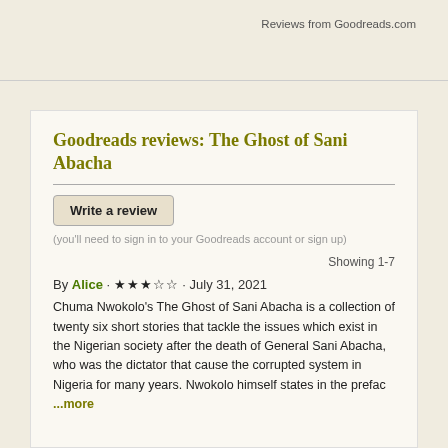Reviews from Goodreads.com
Goodreads reviews: The Ghost of Sani Abacha
Write a review
(you'll need to sign in to your Goodreads account or sign up)
Showing 1-7
By Alice · ★★★☆☆ · July 31, 2021
Chuma Nwokolo's The Ghost of Sani Abacha is a collection of twenty six short stories that tackle the issues which exist in the Nigerian society after the death of General Sani Abacha, who was the dictator that cause the corrupted system in Nigeria for many years. Nwokolo himself states in the prefac ...more